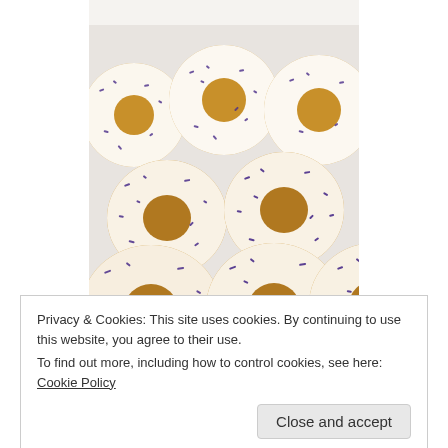[Figure (photo): A box of donuts with white icing and purple/blue sprinkles, arranged in rows of three, viewed from above. The donuts fill the entire photo frame.]
Privacy & Cookies: This site uses cookies. By continuing to use this website, you agree to their use.
To find out more, including how to control cookies, see here: Cookie Policy
[Figure (photo): Partial bottom strip showing another photo with text overlay reading 'Please complete the form below and give to the cashier' and partial view of donuts.]